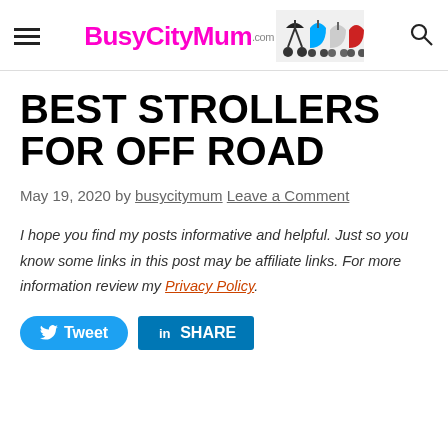BusyCityMum.com [logo with strollers image]
BEST STROLLERS FOR OFF ROAD
May 19, 2020 by busycitymum Leave a Comment
I hope you find my posts informative and helpful. Just so you know some links in this post may be affiliate links. For more information review my Privacy Policy.
Tweet  SHARE